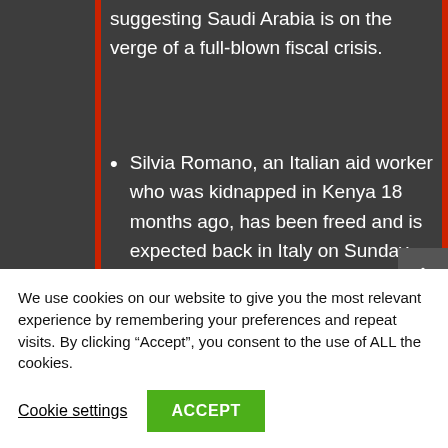suggesting Saudi Arabia is on the verge of a full-blown fiscal crisis.
Silvia Romano, an Italian aid worker who was kidnapped in Kenya 18 months ago, has been freed and is expected back in Italy on Sunday, the Italian government announced on Saturday. Asked about the release, Di Maio said he could not reveal any details. Italian daily Corriere della Sera reported on
We use cookies on our website to give you the most relevant experience by remembering your preferences and repeat visits. By clicking “Accept”, you consent to the use of ALL the cookies.
Cookie settings
ACCEPT